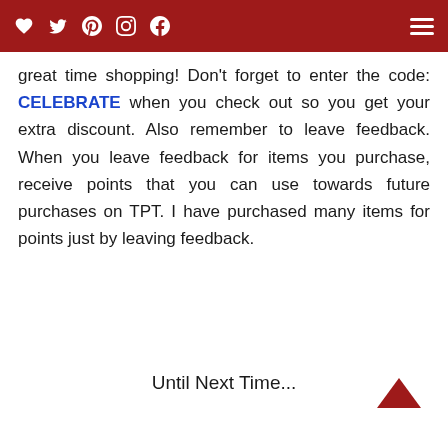Thanks for stopping by and I hope you have a great time shopping! Don't forget to enter the code: CELEBRATE when you check out so you get your extra discount. Also remember to leave feedback. When you leave feedback for items you purchase, receive points that you can use towards future purchases on TPT. I have purchased many items for points just by leaving feedback.
Until Next Time...